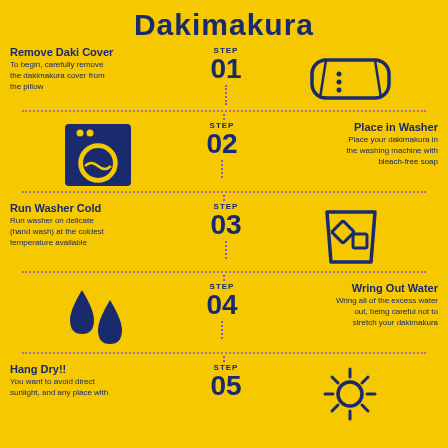Dakimakura
Remove Daki Cover
To begin, carefully remove the dakimakura cover from the pillow
[Figure (illustration): STEP 01 label with pillow icon]
[Figure (illustration): Washing machine icon with STEP 02]
Place in Washer
Place your dakimakura in the washing machine with bleach-free soap
Run Washer Cold
Run washer on delicate (hand wash) at the coldest temperature available
[Figure (illustration): STEP 03 label with ice/cold glass icon]
[Figure (illustration): Water drops icon with STEP 04]
Wring Out Water
Wring all of the excess water out, being careful not to stretch your dakimakura
Hang Dry!!
You want to avoid direct sunlight, and any place with
[Figure (illustration): STEP 05 label with sun icon]